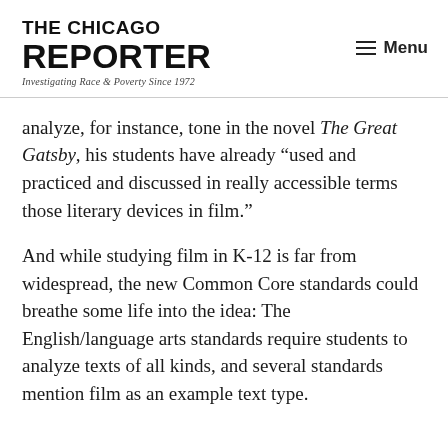THE CHICAGO REPORTER — Investigating Race & Poverty Since 1972
analyze, for instance, tone in the novel The Great Gatsby, his students have already “used and practiced and discussed in really accessible terms those literary devices in film.”
And while studying film in K-12 is far from widespread, the new Common Core standards could breathe some life into the idea: The English/language arts standards require students to analyze texts of all kinds, and several standards mention film as an example text type.